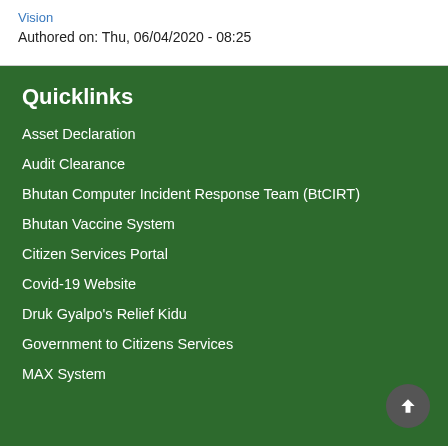Vision
Authored on: Thu, 06/04/2020 - 08:25
Quicklinks
Asset Declaration
Audit Clearance
Bhutan Computer Incident Response Team (BtCIRT)
Bhutan Vaccine System
Citizen Services Portal
Covid-19 Website
Druk Gyalpo's Relief Kidu
Government to Citizens Services
MAX System